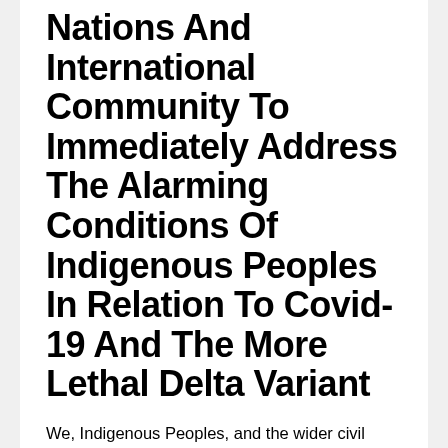Nations And International Community To Immediately Address The Alarming Conditions Of Indigenous Peoples In Relation To Covid-19 And The More Lethal Delta Variant
We, Indigenous Peoples, and the wider civil society, call on governments, the United Nations, and the international community to urgently heed the global and persistent call for an immediate, adequate and culturally-appropriate response to help Indigenous Peoples communities in the time of